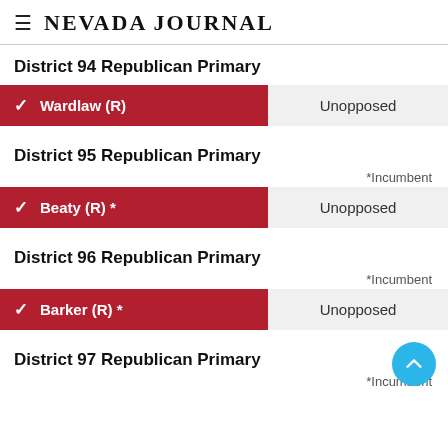Nevada Journal
District 94 Republican Primary
| Candidate | Result |
| --- | --- |
| ✓ Wardlaw (R) | Unopposed |
District 95 Republican Primary
*Incumbent
| Candidate | Result |
| --- | --- |
| ✓ Beaty (R) * | Unopposed |
District 96 Republican Primary
*Incumbent
| Candidate | Result |
| --- | --- |
| ✓ Barker (R) * | Unopposed |
District 97 Republican Primary
*Incumbent